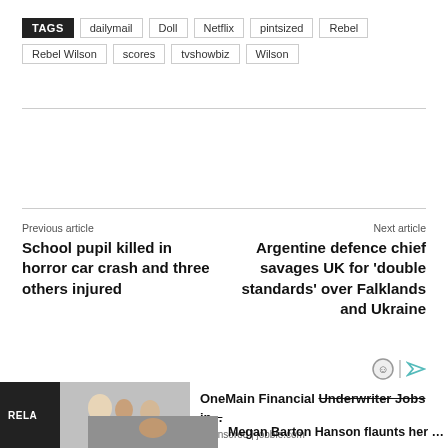TAGS  dailymail  Doll  Netflix  pintsized  Rebel  Rebel Wilson  scores  tvshowbiz  Wilson
Previous article
School pupil killed in horror car crash and three others injured
Next article
Argentine defence chief savages UK for 'double standards' over Falklands and Ukraine
[Figure (photo): Person at desk with financial advisor, related article image]
OneMain Financial Underwriter Jobs in...
Sponsored | jobble.com
Megan Barton Hanson flaunts her toned